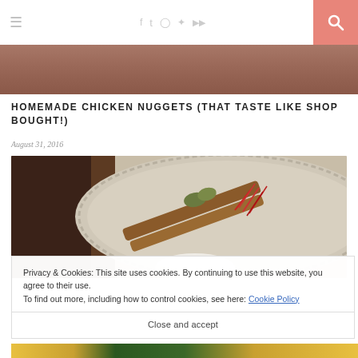≡ [hamburger] [social icons: f t Instagram Pinterest SoundCloud] [search]
[Figure (photo): Cropped top portion of a food/cooking hero image]
HOMEMADE CHICKEN NUGGETS (THAT TASTE LIKE SHOP BOUGHT!)
August 31, 2016
[Figure (photo): Close-up photo of spices on a decorative silver plate — cinnamon sticks, cardamom pods, saffron strands]
Privacy & Cookies: This site uses cookies. By continuing to use this website, you agree to their use.
To find out more, including how to control cookies, see here: Cookie Policy
Close and accept
[Figure (photo): Bottom edge of another food photo peeking below the cookie banner]